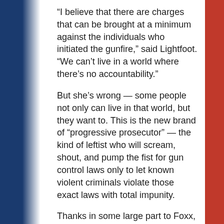“I believe that there are charges that can be brought at a minimum against the individuals who initiated the gunfire,” said Lightfoot. “We can’t live in a world where there’s no accountability.”
But she’s wrong — some people not only can live in that world, but they want to. This is the new brand of “progressive prosecutor” — the kind of leftist who will scream, shout, and pump the fist for gun control laws only to let known violent criminals violate those exact laws with total impunity.
Thanks in some large part to Foxx,